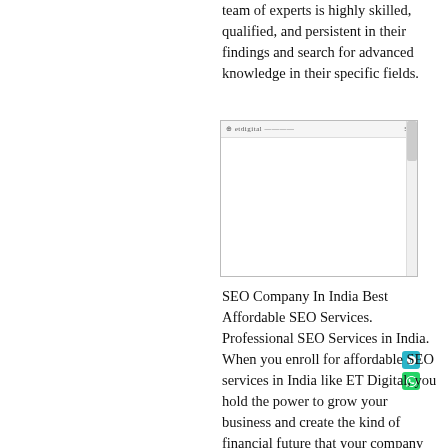team of experts is highly skilled, qualified, and persistent in their findings and search for advanced knowledge in their specific fields.
[Figure (screenshot): A browser window screenshot showing a website interface with a logo in the top-left, a hamburger menu icon in the top-right, and teal/green icon buttons on the right side.]
SEO Company In India Best Affordable SEO Services. Professional SEO Services in India. When you enroll for affordable SEO services in India like ET Digital, you hold the power to grow your business and create the kind of financial future that your company dreams of. With a small upfront investment, your